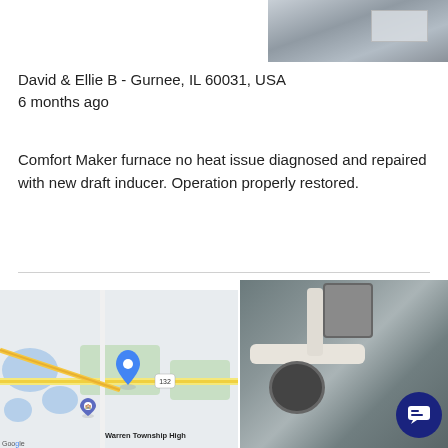[Figure (photo): Photo of a furnace unit, top portion cropped, showing a gray metal HVAC unit with a label/tag on it]
David & Ellie B - Gurnee, IL 60031, USA
6 months ago
Comfort Maker furnace no heat issue diagnosed and repaired with new draft inducer. Operation properly restored.
[Figure (map): Google Maps screenshot showing Gurnee, IL area with a blue location pin, road 132 visible, Warren Township High School label, and Google logo at bottom]
[Figure (photo): Photo of an open furnace/HVAC unit showing internal components including pipes, draft inducer motor, wiring, and ductwork in a basement setting]